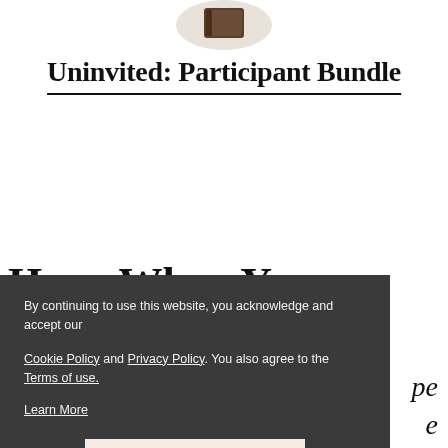[Figure (photo): Product image of a book or bundle shown in a circular crop at the top center of the page]
Uninvited: Participant Bundle
Hope When Your Heart Is
By continuing to use this website, you acknowledge and accept our Cookie Policy and Privacy Policy. You also agree to the Terms of use. Learn More
CONTINUE